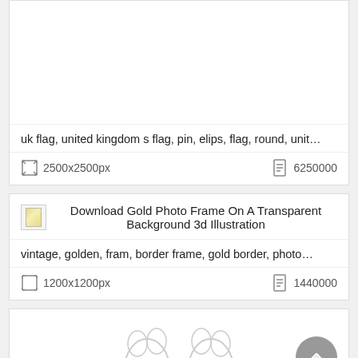uk flag, united kingdom s flag, pin, elips, flag, round, unit…
2500x2500px  6250000
Download Gold Photo Frame On A Transparent Background 3d Illustration
vintage, golden, fram, border frame, gold border, photo…
1200x1200px  1440000
[Figure (illustration): Partially visible illustration showing outline shapes resembling paw or flower shapes at the bottom of the page]